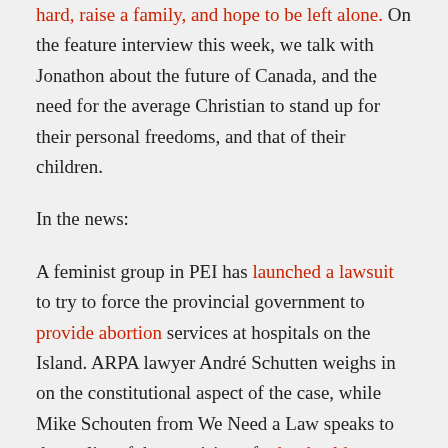hard, raise a family, and hope to be left alone. On the feature interview this week, we talk with Jonathon about the future of Canada, and the need for the average Christian to stand up for their personal freedoms, and that of their children.
In the news:
A feminist group in PEI has launched a lawsuit to try to force the provincial government to provide abortion services at hospitals on the Island. ARPA lawyer André Schutten weighs in on the constitutional aspect of the case, while Mike Schouten from We Need a Law speaks to the reality of the provision of other health care services in Canada.
A huge international story out of Norway over the holidays